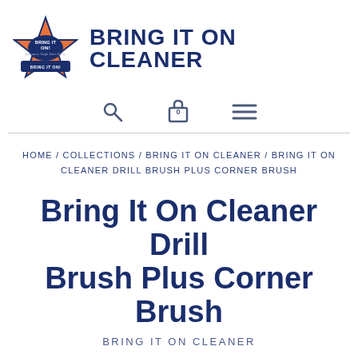BRING IT ON CLEANER
[Figure (logo): Bring It On! star logo with orange star and blue banner]
HOME / COLLECTIONS / BRING IT ON CLEANER / BRING IT ON CLEANER DRILL BRUSH PLUS CORNER BRUSH
Bring It On Cleaner Drill Brush Plus Corner Brush
BRING IT ON CLEANER